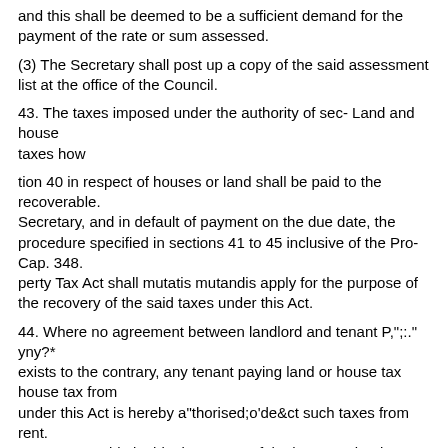and this shall be deemed to be a sufficient demand for the payment of the rate or sum assessed.
(3) The Secretary shall post up a copy of the said assessment list at the office of the Council.
43. The taxes imposed under the authority of sec- Land and house
taxes how
tion 40 in respect of houses or land shall be paid to the recoverable.
Secretary, and in default of payment on the due date, the procedure specified in sections 41 to 45 inclusive of the Pro- Cap. 348.
perty Tax Act shall mutatis mutandis apply for the purpose of the recovery of the said taxes under this Act.
44. Where no agreement between landlord and tenant P,";:." yny?*
exists to the contrary, any tenant paying land or house tax house tax from
under this Act is hereby a"thorised;o'de&ct such taxes from rent.
any rent payable by him in respect of the house or land,
and in the event of any action being brought by the landlord